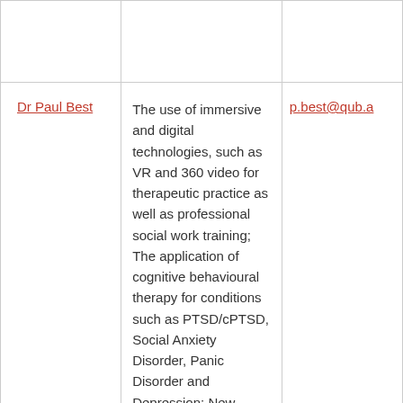| Name | Research Interests | Email |
| --- | --- | --- |
| Dr Paul Best | The use of immersive and digital technologies, such as VR and 360 video for therapeutic practice as well as professional social work training; The application of cognitive behavioural therapy for conditions such as PTSD/cPTSD, Social Anxiety Disorder, Panic Disorder and Depression; New approaches to coproduction and participatory analysis. | p.best@qub.a... |